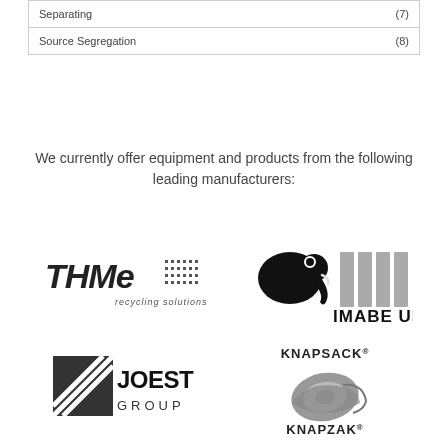| Separating | (7) |
| Source Segregation | (8) |
We currently offer equipment and products from the following leading manufacturers:
[Figure (logo): THME recycling solutions logo]
[Figure (logo): IMABE UK logo with elephant graphic]
[Figure (logo): Joest Group logo]
[Figure (logo): Knapsack / Knapzak logo]